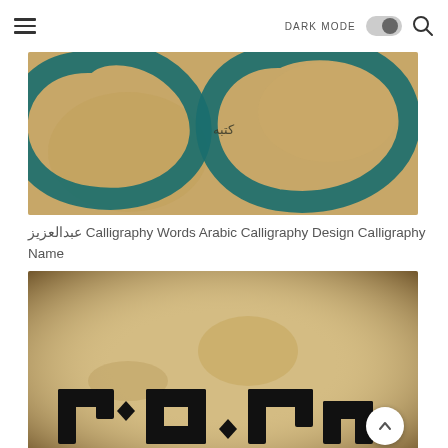DARK MODE [toggle]
[Figure (photo): Arabic calligraphy artwork on a tan/beige background with teal/dark colored circular calligraphic strokes and smaller Arabic text in the center]
عبدالعزيز Calligraphy Words Arabic Calligraphy Design Calligraphy Name
[Figure (photo): Arabic calligraphy in bold black Kufic-style script on a worn, aged parchment-like background with brown edges]